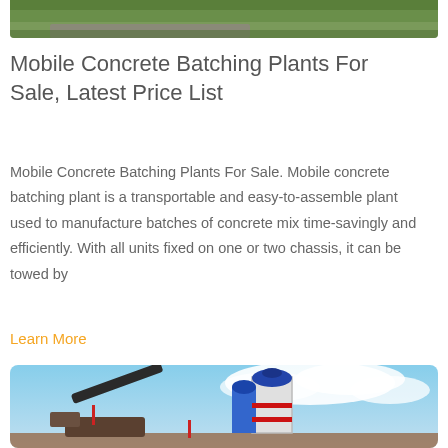[Figure (photo): Top portion of a photo showing green vegetation/trees and a road, partially cropped at the top of the page]
Mobile Concrete Batching Plants For Sale, Latest Price List
Mobile Concrete Batching Plants For Sale. Mobile concrete batching plant is a transportable and easy-to-assemble plant used to manufacture batches of concrete mix time-savingly and efficiently. With all units fixed on one or two chassis, it can be towed by
Learn More
[Figure (photo): Photo of a concrete batching plant with blue silos and machinery against a blue sky with white clouds]